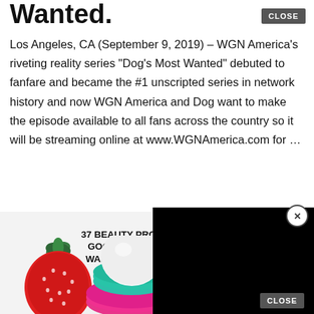Wanted.
Los Angeles, CA (September 9, 2019) – WGN America's riveting reality series “Dog's Most Wanted” debuted to fanfare and became the #1 unscripted series in network history and now WGN America and Dog want to make the episode available to all fans across the country so it will be streaming online at www.WGNAmerica.com for …
[Figure (screenshot): Advertisement overlay showing '22 WORDS' badge and '37 BEAUTY PRODU... GOOD REVIEWS... WANT TO TRY TH...' headline with strawberry and EOS lip balm product image, partially covered by a black video ad overlay. A CLOSE button appears at top right and bottom right of respective overlays.]